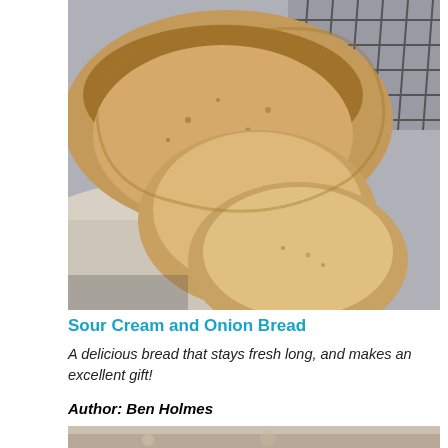[Figure (photo): Close-up photo of a sliced loaf of whole wheat sour cream and onion bread, with two slices cut and leaning against the loaf, placed on a cloth on a wire rack with a grey background.]
Sour Cream and Onion Bread
A delicious bread that stays fresh long, and makes an excellent gift!
Author: Ben Holmes
[Figure (photo): Partial view of a second food photo at the bottom of the page.]